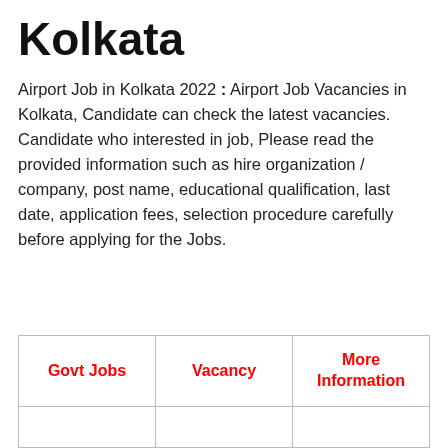Kolkata
Airport Job in Kolkata 2022 : Airport Job Vacancies in Kolkata, Candidate can check the latest vacancies. Candidate who interested in job, Please read the provided information such as hire organization / company, post name, educational qualification, last date, application fees, selection procedure carefully before applying for the Jobs.
| Govt Jobs | Vacancy | More Information |
| --- | --- | --- |